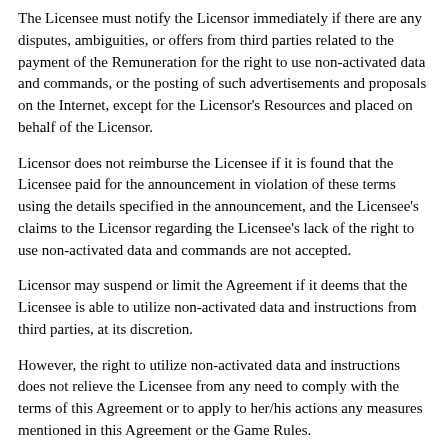The Licensee must notify the Licensor immediately if there are any disputes, ambiguities, or offers from third parties related to the payment of the Remuneration for the right to use non-activated data and commands, or the posting of such advertisements and proposals on the Internet, except for the Licensor's Resources and placed on behalf of the Licensor.
Licensor does not reimburse the Licensee if it is found that the Licensee paid for the announcement in violation of these terms using the details specified in the announcement, and the Licensee's claims to the Licensor regarding the Licensee's lack of the right to use non-activated data and commands are not accepted.
Licensor may suspend or limit the Agreement if it deems that the Licensee is able to utilize non-activated data and instructions from third parties, at its discretion.
However, the right to utilize non-activated data and instructions does not relieve the Licensee from any need to comply with the terms of this Agreement or to apply to her/his actions any measures mentioned in this Agreement or the Game Rules.
In the event that the Licensee engages in illegal activity while paying the Remuneration for the right to utilize non-activated data and instructions, the Licensor is not accountable. A suspicion that a